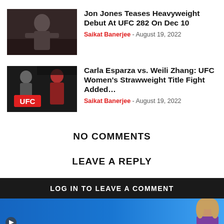[Figure (photo): Jon Jones MMA fighter posing in octagon]
Jon Jones Teases Heavyweight Debut At UFC 282 On Dec 10
Saikat Banerjee - August 19, 2022
[Figure (photo): Carla Esparza and Weili Zhang UFC promo image]
Carla Esparza vs. Weili Zhang: UFC Women's Strawweight Title Fight Added...
Saikat Banerjee - August 19, 2022
NO COMMENTS
LEAVE A REPLY
LOG IN TO LEAVE A COMMENT
[Figure (screenshot): Blue advertisement banner with person]